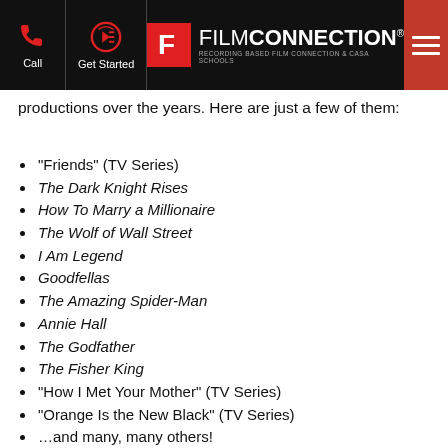Film Connection — Call | Get Started | [logo] | [menu]
productions over the years. Here are just a few of them:
“Friends” (TV Series)
The Dark Knight Rises
How To Marry a Millionaire
The Wolf of Wall Street
I Am Legend
Goodfellas
The Amazing Spider-Man
Annie Hall
The Godfather
The Fisher King
“How I Met Your Mother” (TV Series)
“Orange Is the New Black” (TV Series)
…and many, many others!